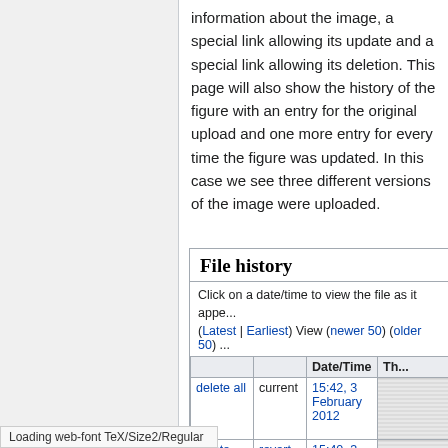information about the image, a special link allowing its update and a special link allowing its deletion. This page will also show the history of the figure with an entry for the original upload and one more entry for every time the figure was updated. In this case we see three different versions of the image were uploaded.
File history
Click on a date/time to view the file as it appe...
(Latest | Earliest) View (newer 50) (older 50) ...
|  |  | Date/Time | Th... |
| --- | --- | --- | --- |
| delete all | current | 15:42, 3 February 2012 |  |
| delete | revert | 15:40, 3 February 2012 |  |
|  | revert | 15:30, 3 February 2012 |  |
Loading web-font TeX/Size2/Regular